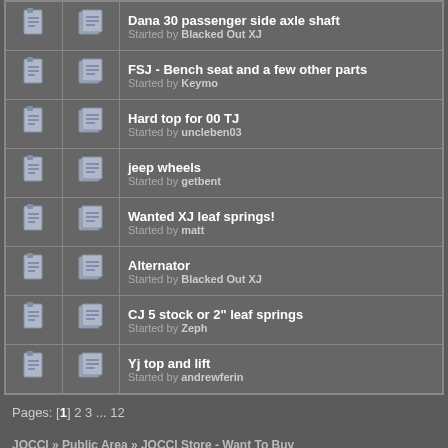|  |  | Topic |
| --- | --- | --- |
|  |  | Dana 30 passenger side axle shaft
Started by Blacked Out XJ |
|  |  | FSJ - Bench seat and a few other parts
Started by Keymo |
|  |  | Hard top for 00 TJ
Started by uncleben03 |
|  |  | jeep wheels
Started by getbent |
|  |  | Wanted XJ leaf springs!
Started by matt |
|  |  | Alternator
Started by Blacked Out XJ |
|  |  | CJ 5 stock or 2" leaf springs
Started by Zeph |
|  |  | Yj top and lift
Started by andrewferin |
Pages: [1] 2 3 ... 12
JOCCI » Public Area » JOCCI Store - Want To Buy
Normal Topic    Locked Topic